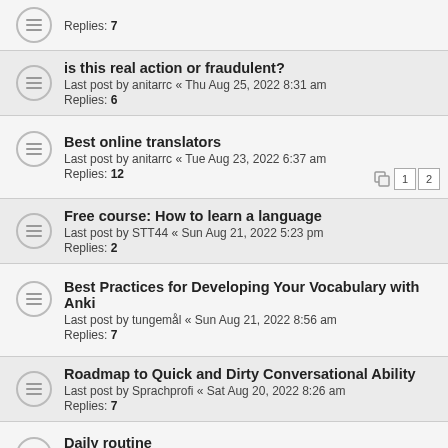Replies: 7
is this real action or fraudulent?
Last post by anitarrc « Thu Aug 25, 2022 8:31 am
Replies: 6
Best online translators
Last post by anitarrc « Tue Aug 23, 2022 6:37 am
Replies: 12
Free course: How to learn a language
Last post by STT44 « Sun Aug 21, 2022 5:23 pm
Replies: 2
Best Practices for Developing Your Vocabulary with Anki
Last post by tungemål « Sun Aug 21, 2022 8:56 am
Replies: 7
Roadmap to Quick and Dirty Conversational Ability
Last post by Sprachprofi « Sat Aug 20, 2022 8:26 am
Replies: 7
Daily routine
Last post by jeff_lindqvist « Fri Aug 19, 2022 3:16 pm
Replies: 12